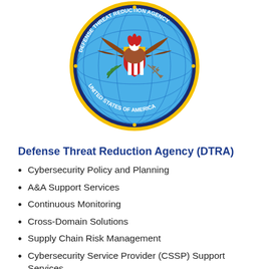[Figure (logo): Defense Threat Reduction Agency (DTRA) official seal — circular emblem with bald eagle holding arrows and olive branch, red shield, globe, gold ring, text 'DEFENSE THREAT REDUCTION AGENCY' and 'UNITED STATES OF AMERICA']
Defense Threat Reduction Agency (DTRA)
Cybersecurity Policy and Planning
A&A Support Services
Continuous Monitoring
Cross-Domain Solutions
Supply Chain Risk Management
Cybersecurity Service Provider (CSSP) Support Services
Promoting Cybersecurity throughout the Agency